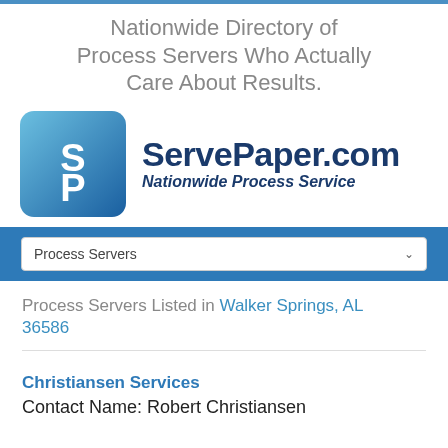Nationwide Directory of Process Servers Who Actually Care About Results.
[Figure (logo): ServePaper.com logo with SP icon and text 'ServePaper.com Nationwide Process Service']
Process Servers
Process Servers Listed in Walker Springs, AL 36586
Christiansen Services
Contact Name: Robert Christiansen